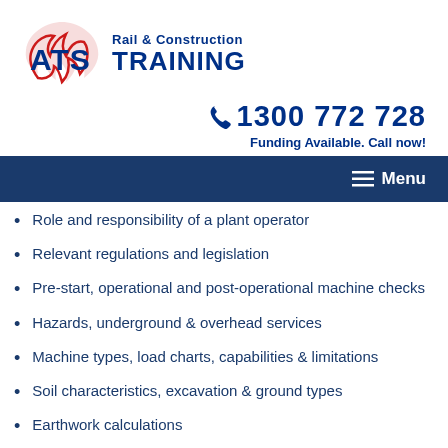[Figure (logo): ATS Rail & Construction Training logo with red flame/Australia map shape and blue ATS lettering]
☎ 1300 772 728
Funding Available. Call now!
≡ Menu
Role and responsibility of a plant operator
Relevant regulations and legislation
Pre-start, operational and post-operational machine checks
Hazards, underground & overhead services
Machine types, load charts, capabilities & limitations
Soil characteristics, excavation & ground types
Earthwork calculations